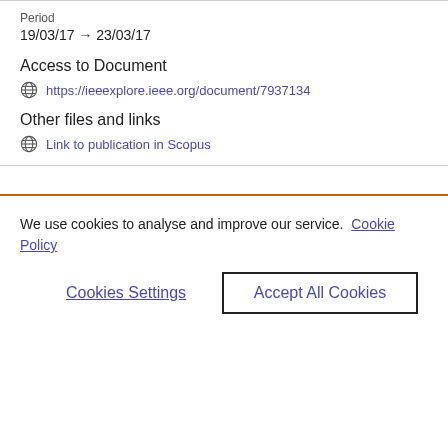Period
19/03/17 → 23/03/17
Access to Document
https://ieeexplore.ieee.org/document/7937134
Other files and links
Link to publication in Scopus
We use cookies to analyse and improve our service. Cookie Policy
Cookies Settings
Accept All Cookies